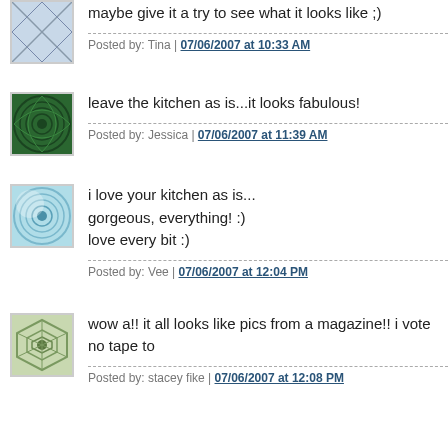maybe give it a try to see what it looks like ;)
Posted by: Tina | 07/06/2007 at 10:33 AM
leave the kitchen as is...it looks fabulous!
Posted by: Jessica | 07/06/2007 at 11:39 AM
i love your kitchen as is...
gorgeous, everything! :)
love every bit :)
Posted by: Vee | 07/06/2007 at 12:04 PM
wow a!! it all looks like pics from a magazine!! i vote no tape to
Posted by: stacey fike | 07/06/2007 at 12:08 PM